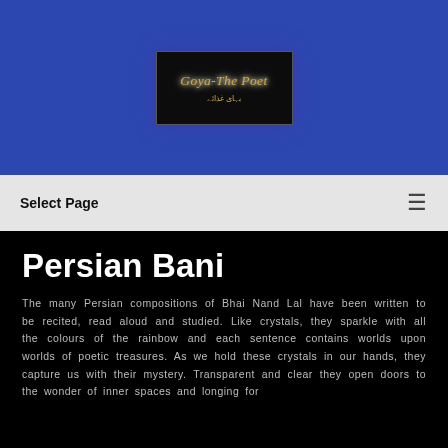[Figure (logo): Goya-The Poet logo on black background with golden/italic text and Arabic/Urdu script]
Select Page
Persian Bani
The many Persian compositions of Bhai Nand Lal have been written to be recited, read aloud and studied. Like crystals, they sparkle with all the colours of the rainbow and each sentence contains worlds upon worlds of poetic treasures. As we hold these crystals in our hands, they capture us with their mystery. Transparent and clear they open doors to the wonder of inner spaces and longing for